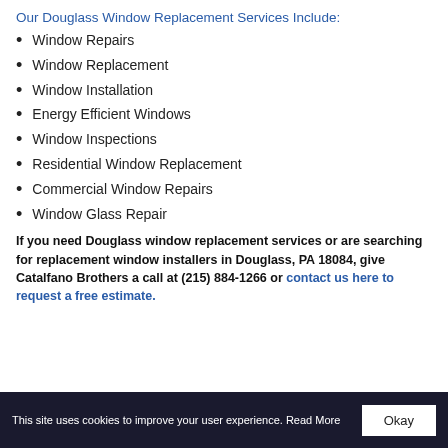Our Douglass Window Replacement Services Include:
Window Repairs
Window Replacement
Window Installation
Energy Efficient Windows
Window Inspections
Residential Window Replacement
Commercial Window Repairs
Window Glass Repair
If you need Douglass window replacement services or are searching for replacement window installers in Douglass, PA 18084, give Catalfano Brothers a call at (215) 884-1266 or contact us here to request a free estimate.
This site uses cookies to improve your user experience. Read More  Okay